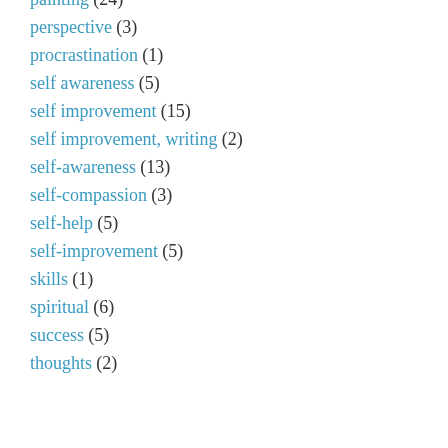painting (24)
perspective (3)
procrastination (1)
self awareness (5)
self improvement (15)
self improvement, writing (2)
self-awareness (13)
self-compassion (3)
self-help (5)
self-improvement (5)
skills (1)
spiritual (6)
success (5)
thoughts (2)